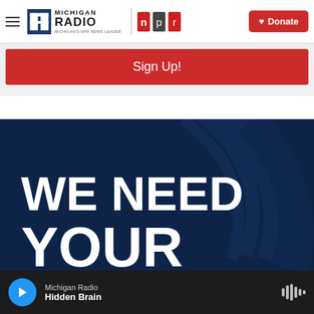[Figure (logo): Michigan Radio NPR News Leader logo with hamburger menu and Donate button]
Sign Up!
[Figure (infographic): Dark navy blue banner with large bold white text reading WE NEED YOUR with NPR radio wave graphic in background]
Michigan Radio
Hidden Brain